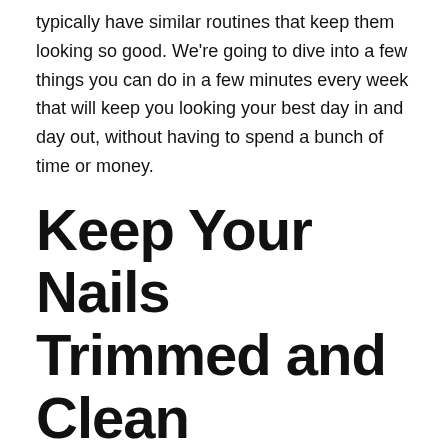typically have similar routines that keep them looking so good. We're going to dive into a few things you can do in a few minutes every week that will keep you looking your best day in and day out, without having to spend a bunch of time or money.
Keep Your Nails Trimmed and Clean
While this may seem like an obvious point, there are a lot of men who just don't take care of their nails the way that they should. A man with well-kempt nails gives off the impression that he takes care of himself and focuses on the small details. Even if you work a relatively dirty job, you should keep your nails clean because that will show that your standards are higher than being dirty from your job. Not only does this apply to your fingernails, it also applies to your toenails. The good news is it's really simple to keep your nails maintained and chances are